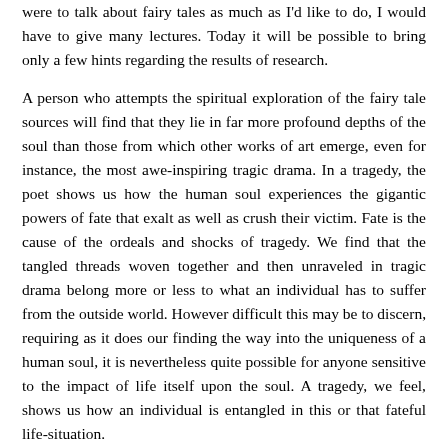were to talk about fairy tales as much as I'd like to do, I would have to give many lectures. Today it will be possible to bring only a few hints regarding the results of research.
A person who attempts the spiritual exploration of the fairy tale sources will find that they lie in far more profound depths of the soul than those from which other works of art emerge, even for instance, the most awe-inspiring tragic drama. In a tragedy, the poet shows us how the human soul experiences the gigantic powers of fate that exalt as well as crush their victim. Fate is the cause of the ordeals and shocks of tragedy. We find that the tangled threads woven together and then unraveled in tragic drama belong more or less to what an individual has to suffer from the outside world. However difficult this may be to discern, requiring as it does our finding the way into the uniqueness of a human soul, it is nevertheless quite possible for anyone sensitive to the impact of life itself upon the soul. A tragedy, we feel, shows us how an individual is entangled in this or that fateful life-situation.
However, the source of fairy tale mood and fairy tale poetry lies still deeper than the complexities of tragedy. For one thing, we can feel